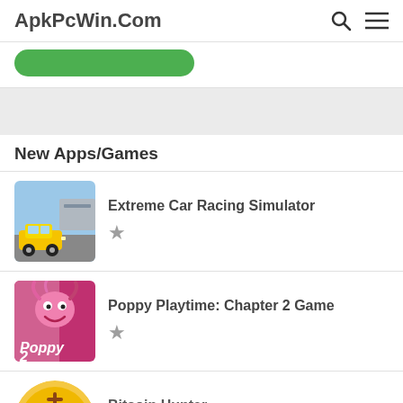ApkPcWin.Com
New Apps/Games
Extreme Car Racing Simulator
Poppy Playtime: Chapter 2 Game
Bitcoin Hunter